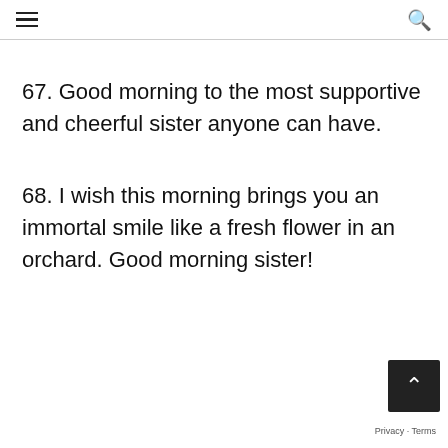☰ [hamburger menu] | 🔍 [search icon]
67. Good morning to the most supportive and cheerful sister anyone can have.
68. I wish this morning brings you an immortal smile like a fresh flower in an orchard. Good morning sister!